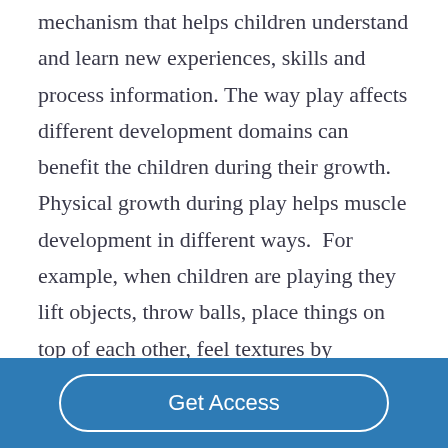mechanism that helps children understand and learn new experiences, skills and process information. The way play affects different development domains can benefit the children during their growth. Physical growth during play helps muscle development in different ways.  For example, when children are playing they lift objects, throw balls, place things on top of each other, feel textures by
Get Access